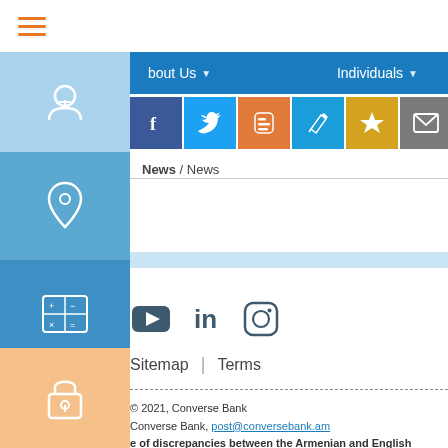☰ (hamburger menu)
bout Us ▼   Individuals ▼
[Figure (screenshot): Row of social sharing icon buttons: Facebook (blue), Twitter (blue), Blogger (orange), Edit/pen (blue), Star (yellow), Mail (gray), Print (gray), Plus (red), Search box]
News / News
[Figure (screenshot): Left sidebar with icons: currency/person icon (light blue), location pin (medium blue), calculator (dark blue), question mark (medium blue), lock icon (peach/orange)]
[Figure (screenshot): Footer social icons: YouTube, LinkedIn, Instagram]
Sitemap | Terms
© 2021, Converse Bank
Converse Bank, post@conversebank.am
e of discrepancies between the Armenian and English version
rmenian version shall prevail.
: 2022-09-02 15:43:40